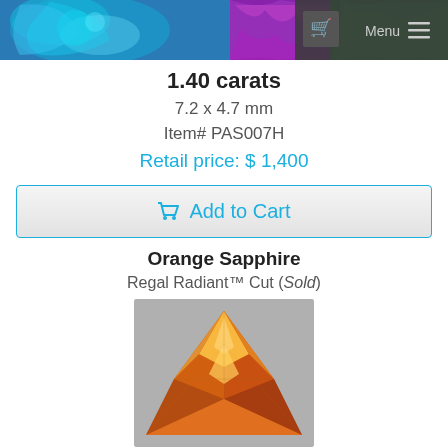[Figure (screenshot): Website header with colorful gemstone imagery (blue crystal and purple/green), cart icon, Menu label, and hamburger icon on dark background]
1.40 carats
7.2 x 4.7 mm
Item# PAS007H
Retail price: $ 1,400
Add to Cart
Orange Sapphire
Regal Radiant™ Cut (Sold)
[Figure (photo): Orange sapphire gemstone in Regal Radiant cut, trillion shape, vivid orange color with facets visible, on gray background]